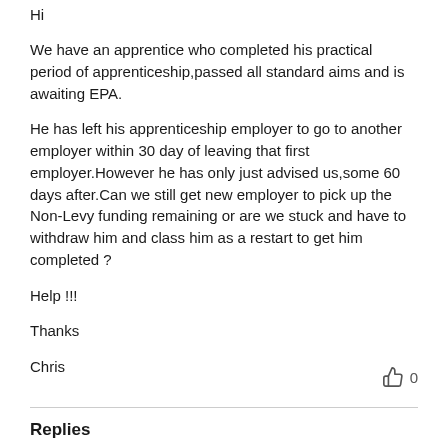Hi
We have an apprentice who completed his practical period of apprenticeship,passed all standard aims and is awaiting EPA.
He has left his apprenticeship employer to go to another employer within 30 day of leaving that first employer.However he has only just advised us,some 60 days after.Can we still get new employer to pick up the Non-Levy funding remaining or are we stuck and have to withdraw him and class him as a restart to get him completed ?
Help !!!
Thanks
Chris
Replies